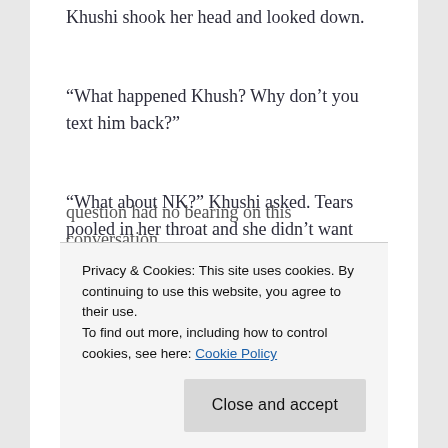Khushi shook her head and looked down.
“What happened Khush? Why don’t you text him back?”
“What about NK?” Khushi asked. Tears pooled in her throat and she didn’t want Lavanya to see
question had no bearing on this conversation.
Privacy & Cookies: This site uses cookies. By continuing to use this website, you agree to their use.
To find out more, including how to control cookies, see here: Cookie Policy